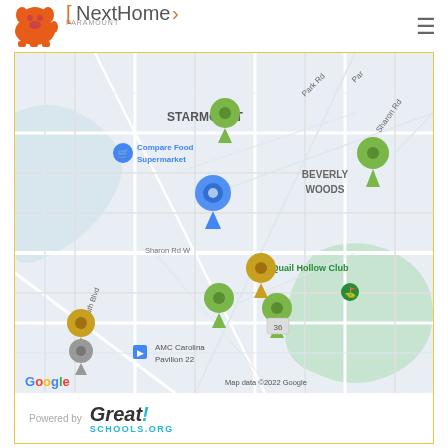[Figure (logo): NextHome Paramount logo with orange bulldog mascot]
[Figure (map): Google Map showing Beverly Woods area of Charlotte NC with colored map pins for schools and points of interest. Labels include STARMOUNT, BEVERLY WOODS, Compare Food Supermarket, Quail Hollow Club, AMC Carolina Pavilion 22. Map data ©2022 Google.]
[Figure (logo): Powered by GreatSchools.org logo]